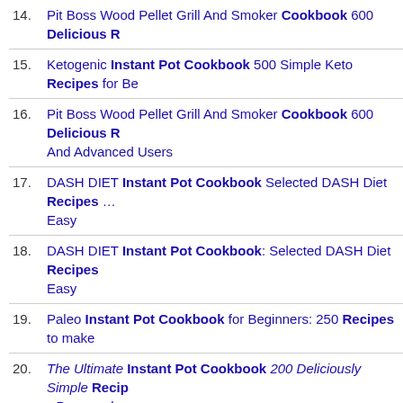14. Pit Boss Wood Pellet Grill And Smoker Cookbook 600 Delicious R…
15. Ketogenic Instant Pot Cookbook 500 Simple Keto Recipes for Be…
16. Pit Boss Wood Pellet Grill And Smoker Cookbook 600 Delicious R… And Advanced Users
17. DASH DIET Instant Pot Cookbook Selected DASH Diet Recipes … Easy
18. DASH DIET Instant Pot Cookbook: Selected DASH Diet Recipes … Easy
19. Paleo Instant Pot Cookbook for Beginners: 250 Recipes to make
20. The Ultimate Instant Pot Cookbook 200 Deliciously Simple Recip… - Removed
Comments
No comments for "Good Housekeeping Instant PotÃ® Cookboo…"
Add Your Comments
1. Download links and password may be in the description section, re…
2. Do a search to find mirrors if no download links or dead links.